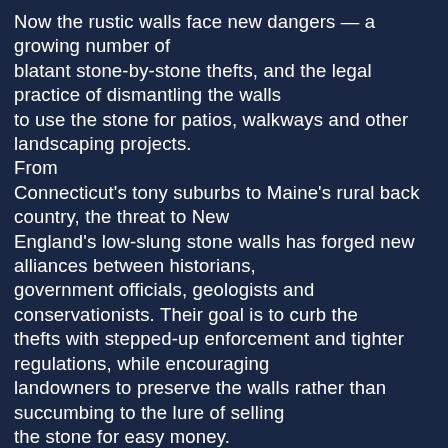Now the rustic walls face new dangers — a growing number of blatant stone-by-stone thefts, and the legal practice of dismantling the walls to use the stone for patios, walkways and other landscaping projects. From Connecticut's tony suburbs to Maine's rural back country, the threat to New England's low-slung stone walls has forged new alliances between historians, government officials, geologists and conservationists. Their goal is to curb the thefts with stepped-up enforcement and tighter regulations, while encouraging landowners to preserve the walls rather than succumbing to the lure of selling the stone for easy money. "The walls are no less an antique than a piece of Chippendale furniture, but you wouldn't take a Chippendale apart for the wood," said Robert Thorson, a geology professor at the University of